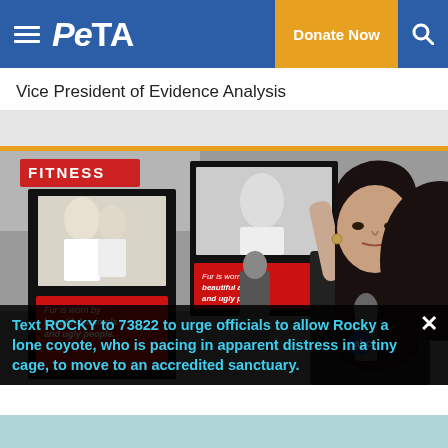PETA — Donate Now
Vice President of Evidence Analysis
[Figure (photo): A woman with long dark hair holds up a PETA protest sign reading 'Fur is worn by beautiful animals and ugly people' at an outdoor demonstration. Other protesters with similar signs are visible in the background along with a city street.]
Text ROCKY to 73822 to urge officials to allow Rocky a lone coyote, who is pacing in apparent distress in a tiny cage, to move to an accredited sanctuary.